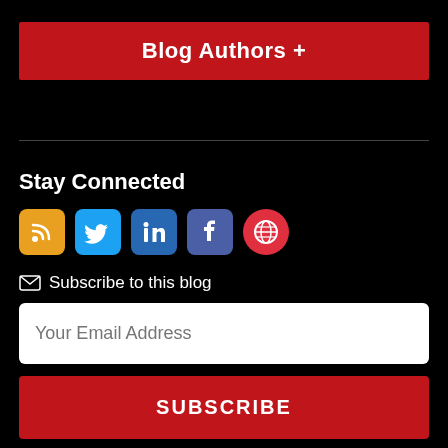Blog Authors +
Stay Connected
[Figure (infographic): Row of social media icons: RSS (orange), Twitter (blue bird), LinkedIn (blue), Facebook (blue/purple), Globe (red)]
✉ Subscribe to this blog
Your Email Address
SUBSCRIBE